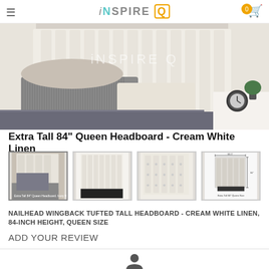iNSPIRE Q
[Figure (photo): Large bedroom photo showing a tufted cream/white wingback headboard with grey pillows and bedding, clock on nightstand]
Extra Tall 84" Queen Headboard - Cream White Linen
[Figure (photo): Four thumbnail images of the headboard: room scene, front view, tufted detail, and dimension diagram]
NAILHEAD WINGBACK TUFTED TALL HEADBOARD - CREAM WHITE LINEN, 84-INCH HEIGHT, QUEEN SIZE
ADD YOUR REVIEW
[Figure (illustration): User/person silhouette icon]